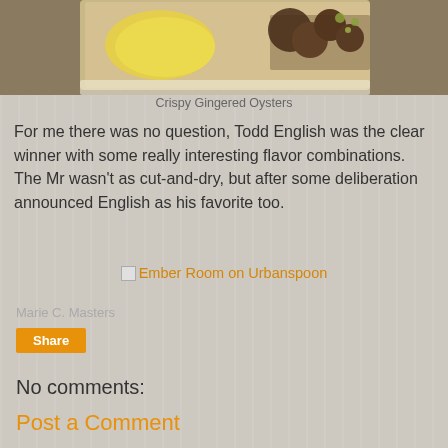[Figure (photo): Photo of Crispy Gingered Oysters on a white plate with yellow sauce, partially cropped at top]
Crispy Gingered Oysters
For me there was no question, Todd English was the clear winner with some really interesting flavor combinations. The Mr wasn't as cut-and-dry, but after some deliberation announced English as his favorite too.
Ember Room on Urbanspoon
Marie C. Masters
Share
No comments:
Post a Comment